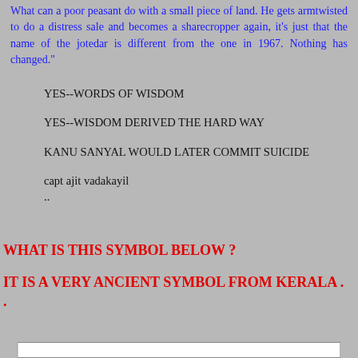What can a poor peasant do with a small piece of land. He gets armtwisted to do a distress sale and becomes a sharecropper again, it's just that the name of the jotedar is different from the one in 1967. Nothing has changed."
YES--WORDS OF WISDOM
YES--WISDOM DERIVED THE HARD WAY
KANU SANYAL WOULD LATER COMMIT SUICIDE
capt ajit vadakayil
..
WHAT IS THIS SYMBOL BELOW ?
IT IS A VERY ANCIENT SYMBOL FROM KERALA . .
[Figure (other): Bottom edge of a white bordered image/symbol, partially visible at the bottom of the page]